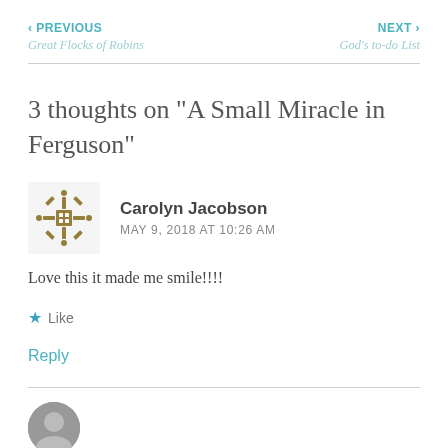‹ PREVIOUS
Great Flocks of Robins
NEXT ›
God's to-do List
3 thoughts on “A Small Miracle in Ferguson”
Carolyn Jacobson
MAY 9, 2018 AT 10:26 AM
Love this it made me smile!!!!
Like
Reply